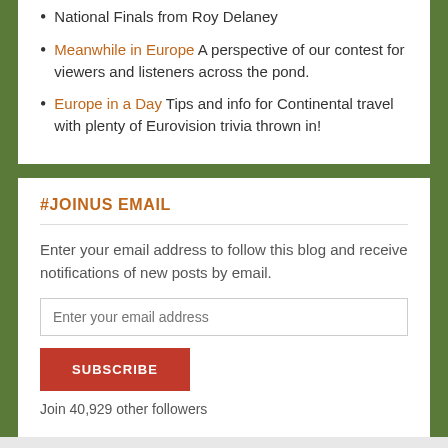National Finals from Roy Delaney
Meanwhile in Europe A perspective of our contest for viewers and listeners across the pond.
Europe in a Day Tips and info for Continental travel with plenty of Eurovision trivia thrown in!
#JOINUS EMAIL
Enter your email address to follow this blog and receive notifications of new posts by email.
Join 40,929 other followers
Advertisements
AUTOMATTIC Build a better web and a better world.